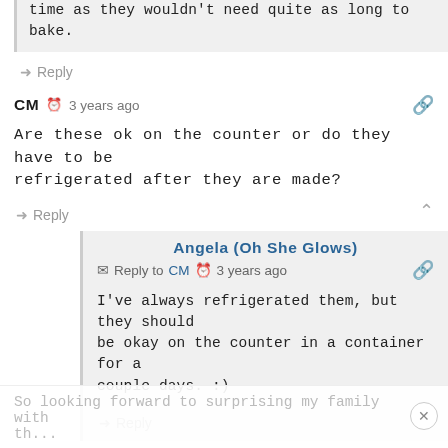time as they wouldn't need quite as long to bake.
Reply
CM  3 years ago
Are these ok on the counter or do they have to be refrigerated after they are made?
Reply
Angela (Oh She Glows)
Reply to CM  3 years ago
I've always refrigerated them, but they should be okay on the counter in a container for a couple days. :)
Reply
Debi Kuberka  3 years ago
So looking forward to surprising my family with th...